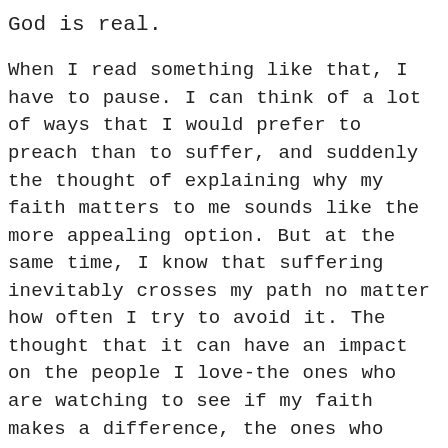God is real.
When I read something like that, I have to pause. I can think of a lot of ways that I would prefer to preach than to suffer, and suddenly the thought of explaining why my faith matters to me sounds like the more appealing option. But at the same time, I know that suffering inevitably crosses my path no matter how often I try to avoid it. The thought that it can have an impact on the people I love-the ones who are watching to see if my faith makes a difference, the ones who aren't asking me to give them a theological explanation of anything, but who are looking for hope and